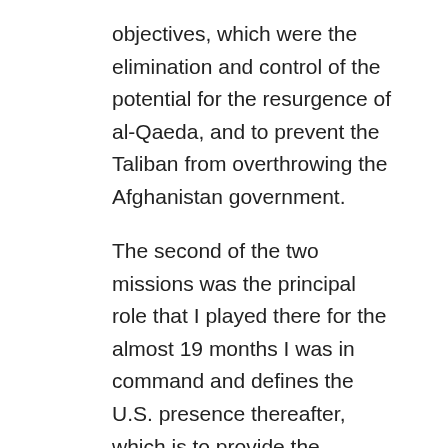objectives, which were the elimination and control of the potential for the resurgence of al-Qaeda, and to prevent the Taliban from overthrowing the Afghanistan government.
The second of the two missions was the principal role that I played there for the almost 19 months I was in command and defines the U.S. presence thereafter, which is to provide the capability for the Afghanistan government to stand on its own. One of the things that is lost often in this question, which is an important question, is that there is this sense we are still fighting in Afghanistan. The combat mission ended on December 31, 2014, and since that time the purpose of NATO forces,